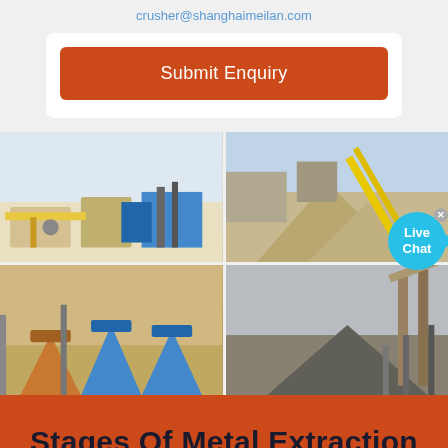crusher@shanghaimeilan.com
Submit Enquiry
[Figure (photo): Four photos of mining/crushing equipment and aggregate processing plants. Top-left: open-pit crushing plant with machinery on white mineral ground. Top-right: aggregate stockpile with yellow conveyor belt equipment. Bottom-left: cone crushers and processing equipment. Bottom-right: large conveyor structures over aggregate piles.]
Stages Of Metal Extraction From An